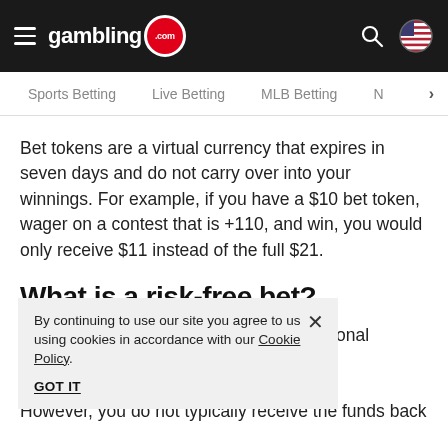gambling.com
Sports Betting | Live Betting | MLB Betting | N>
Bet tokens are a virtual currency that expires in seven days and do not carry over into your winnings. For example, if you have a $10 bet token, wager on a contest that is +110, and win, you would only receive $11 instead of the full $21.
What is a risk-free bet?
A [partially obscured] ...ting promotional o[bscured] ...ager a certain a[bscured] ...nds back. However, you do not typically receive the funds back
By continuing to use our site you agree to us using cookies in accordance with our Cookie Policy.
GOT IT